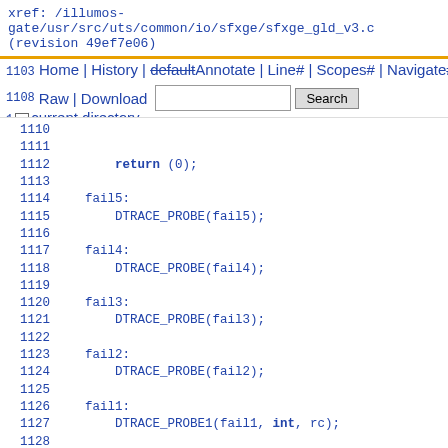xref: /illumos-gate/usr/src/uts/common/io/sfxge/sfxge_gld_v3.c (revision 49ef7e06)
Home | History | Annotate | Line# | Scopes# | Navigate#
Raw | Download  [search box] Search
current directory
[Figure (screenshot): Source code viewer showing C code lines 1103-1130 with line numbers and syntax highlighting. Contains: return (0); fail5: DTRACE_PROBE(fail5); fail4: DTRACE_PROBE(fail4); fail3: DTRACE_PROBE(fail3); fail2: DTRACE_PROBE(fail2); fail1: DTRACE_PROBE1(fail1, int, rc); return (rc); }]